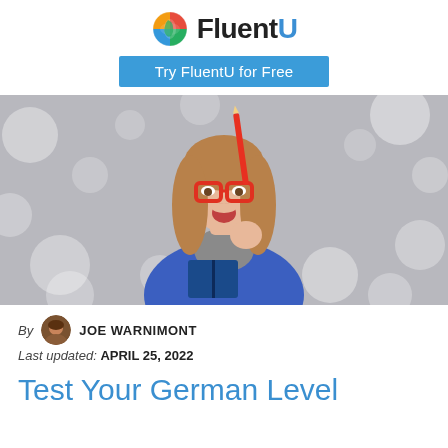[Figure (logo): FluentU logo with colorful globe icon and bold text 'FluentU']
Try FluentU for Free
[Figure (photo): Young woman with red glasses, blue sweater, holding a pencil and book, looking excited, on a grey bokeh background]
By JOE WARNIMONT
Last updated: APRIL 25, 2022
Test Your German Level